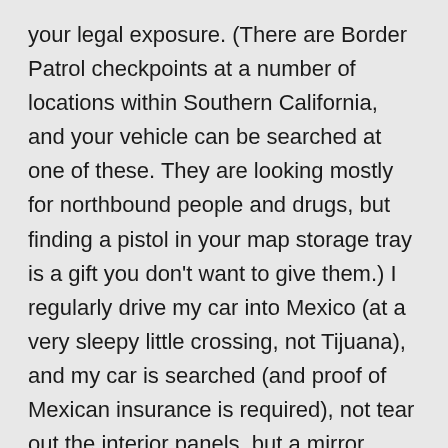your legal exposure. (There are Border Patrol checkpoints at a number of locations within Southern California, and your vehicle can be searched at one of these. They are looking mostly for northbound people and drugs, but finding a pistol in your map storage tray is a gift you don't want to give them.) I regularly drive my car into Mexico (at a very sleepy little crossing, not Tijuana), and my car is searched (and proof of Mexican insurance is required), not tear out the interior panels, but a mirror inspection of the bottom and a hand under all the